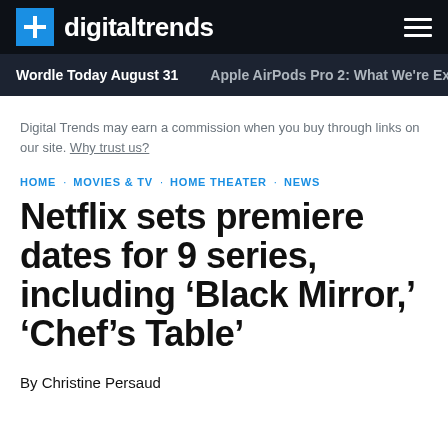digitaltrends
Wordle Today August 31   Apple AirPods Pro 2: What We're Ex
Digital Trends may earn a commission when you buy through links on our site. Why trust us?
HOME · MOVIES & TV · HOME THEATER · NEWS
Netflix sets premiere dates for 9 series, including ‘Black Mirror,’ ‘Chef’s Table’
By Christine Persaud